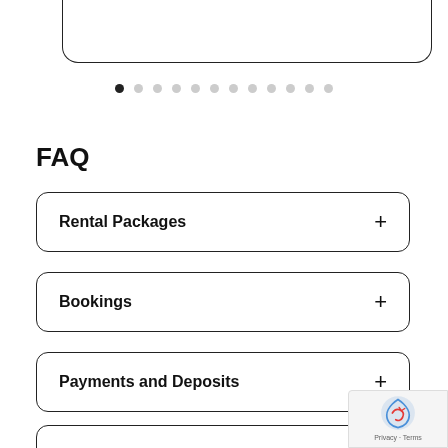[Figure (screenshot): Bottom portion of a rounded card/panel UI element]
[Figure (other): Carousel pagination dots: 12 dots, first one filled/active, rest gray]
FAQ
Rental Packages
Bookings
Payments and Deposits
Staying Safe